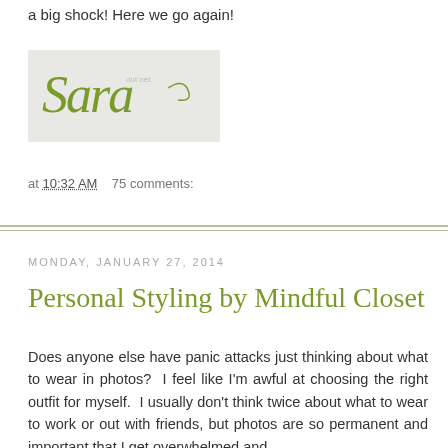a big shock!  Here we go again!
[Figure (illustration): Handwritten-style cursive signature reading 'Sara' in olive green color on a light gray background]
at 10:32 AM    75 comments:
MONDAY, JANUARY 27, 2014
Personal Styling by Mindful Closet
Does anyone else have panic attacks just thinking about what to wear in photos?  I feel like I'm awful at choosing the right outfit for myself.  I usually don't think twice about what to wear to work or out with friends, but photos are so permanent and important that I get overwhelmed and